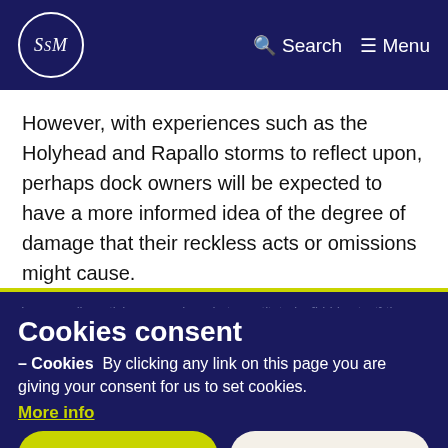SSM — Search   Menu
However, with experiences such as the Holyhead and Rapallo storms to reflect upon, perhaps dock owners will be expected to have a more informed idea of the degree of damage that their reckless acts or omissions might cause.
In our earlier article concerning what constituted a [partially obscured] the effect of limitation could be surprising and in some cases, lead to arbitrary results. Whilst this case may so some, feel somewhat arbitrary in nature – it may be some [partially obscured] know that limitation is at least a reciprocal arrangement.
Cookies consent
– Cookies  By clicking any link on this page you are giving your consent for us to set cookies.
More info
Accept
Decline